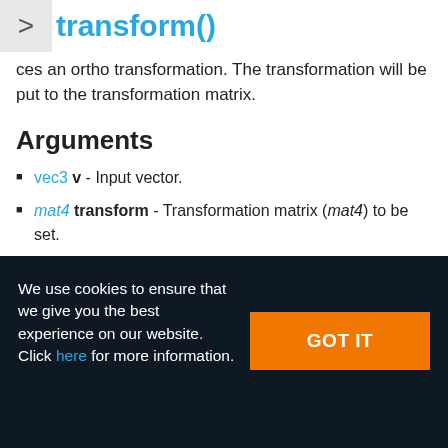transform()
ces an ortho transformation. The transformation will be put to the transformation matrix.
Arguments
vec3 v - Input vector.
mat4 transform - Transformation matrix (mat4) to be set.
We use cookies to ensure that we give you the best experience on our website. Click here for more information.